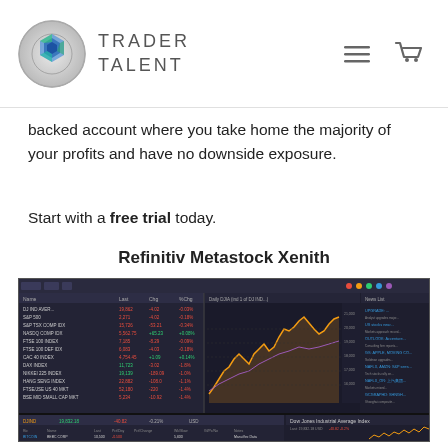TRADER TALENT
backed account where you take home the majority of your profits and have no downside exposure.
Start with a free trial today.
Refinitiv Metastock Xenith
[Figure (screenshot): Screenshot of Refinitiv Metastock Xenith trading platform showing market data panels, a candlestick chart with price action, a news feed, and the Dow Jones Industrial Average Index overview with financial data.]